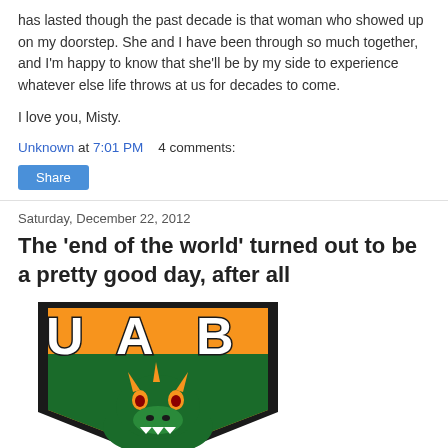has lasted though the past decade is that woman who showed up on my doorstep. She and I have been through so much together, and I'm happy to know that she'll be by my side to experience whatever else life throws at us for decades to come.
I love you, Misty.
Unknown at 7:01 PM    4 comments:
Share
Saturday, December 22, 2012
The 'end of the world' turned out to be a pretty good day, after all
[Figure (logo): UAB Blazers logo featuring 'UAB' text in white with black outline on a green and orange background shield, with a green dragon/Blazer mascot below]